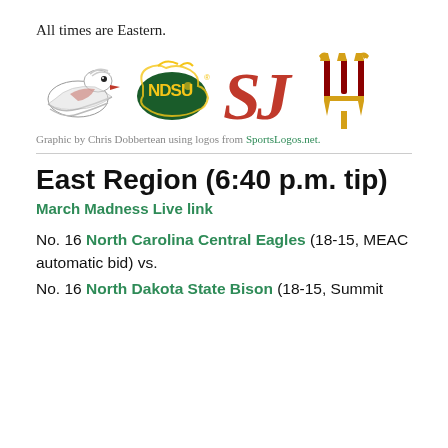All times are Eastern.
[Figure (logo): Four college sports logos displayed in a row: North Carolina Central Eagles (hawk), North Dakota State Bison (NDSU), St. John's (SJ in red), and Arizona State Sun Devils (pitchfork in gold/maroon).]
Graphic by Chris Dobbertean using logos from SportsLogos.net.
East Region (6:40 p.m. tip)
March Madness Live link
No. 16 North Carolina Central Eagles (18-15, MEAC automatic bid) vs.
No. 16 North Dakota State Bison (18-15, Summit